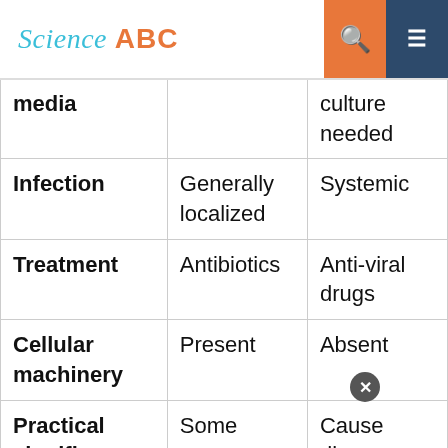Science ABC
|  | Bacteria | Virus |
| --- | --- | --- |
| media |  | culture needed |
| Infection | Generally localized | Systemic |
| Treatment | Antibiotics | Anti-viral drugs |
| Cellular machinery | Present | Absent |
| Practical significance | Some cause disease; Some | Cause diseases; humans |